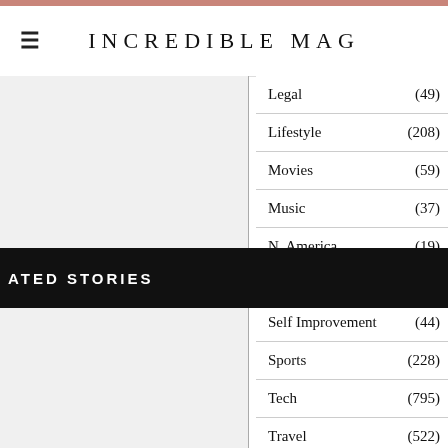INCREDIBLE MAG
ATED STORIES
Legal (49)
Lifestyle (208)
Movies (59)
Music (37)
N. America (19)
S. America (4)
Self Improvement (44)
Sports (228)
Tech (795)
Travel (522)
Travel Guides (81)
Travel Reviews (28)